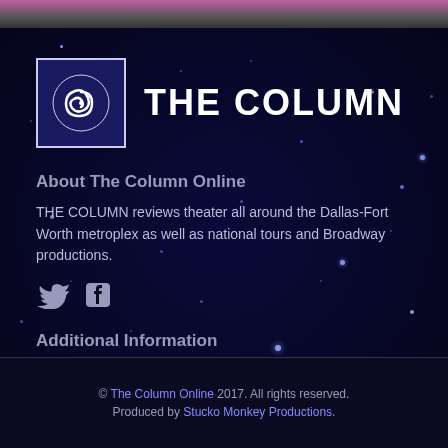[Figure (logo): The Column Online logo with spiral shell icon in bordered box and THE COLUMN text]
About The Column Online
THE COLUMN reviews theater all around the Dallas-Fort Worth metroplex as well as national tours and Broadway productions.
[Figure (infographic): Twitter and Facebook social media icons]
Additional Information
Contact us
Become a member
The Column Awards
© The Column Online 2017. All rights reserved. Produced by Stucko Monkey Productions.